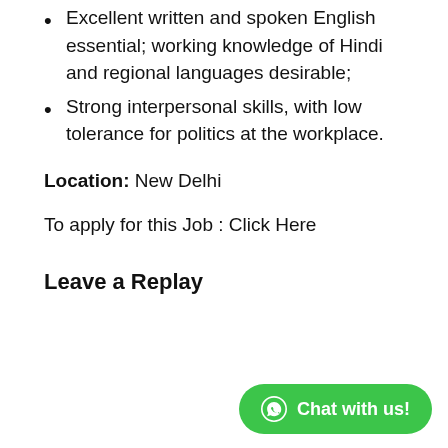Excellent written and spoken English essential; working knowledge of Hindi and regional languages desirable;
Strong interpersonal skills, with low tolerance for politics at the workplace.
Location: New Delhi
To apply for this Job : Click Here
Leave a Replay
[Figure (other): WhatsApp Chat with us! button in green rounded rectangle at bottom right]